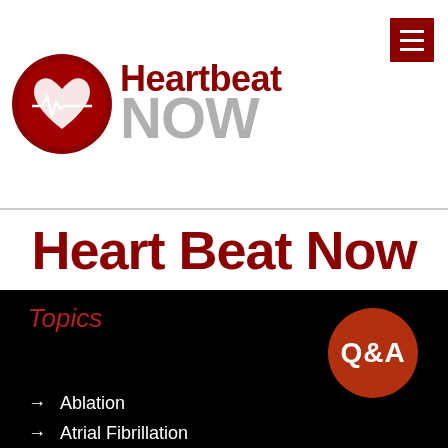[Figure (logo): Heartbeat Now logo: red circle with white heart and ECG line, text 'Heartbeat NOW' in dark red and gray]
Heart Beat Now
Topics
[Figure (infographic): Orange-red circle with white Q&A text]
Ablation
Atrial Fibrillation